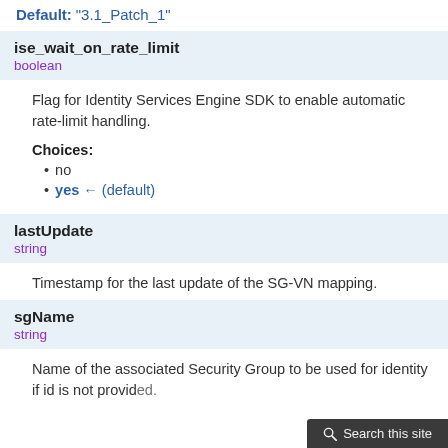Default: "3.1_Patch_1"
ise_wait_on_rate_limit
boolean
Flag for Identity Services Engine SDK to enable automatic rate-limit handling.
Choices:
no
yes ← (default)
lastUpdate
string
Timestamp for the last update of the SG-VN mapping.
sgName
string
Name of the associated Security Group to be used for identity if id is not provided.